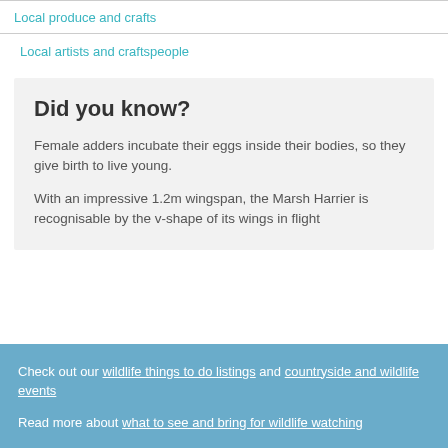Local produce and crafts
Local artists and craftspeople
Did you know?
Female adders incubate their eggs inside their bodies, so they give birth to live young.
With an impressive 1.2m wingspan, the Marsh Harrier is recognisable by the v-shape of its wings in flight
Check out our wildlife things to do listings and countryside and wildlife events
Read more about what to see and bring for wildlife watching